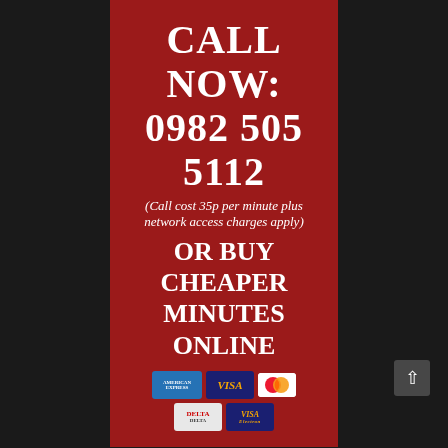[Figure (infographic): Red banner advertisement with phone number, call cost notice, online purchase option, and payment card icons (American Express, Visa, Mastercard, Delta, Visa Electron)]
XXX Phone Wanking UK
They are all totally different and are here to show you how fucking savage they can be and you never know what is going to happen when you call for some nasty cock and ball torture because these mistresses are all unique. Some of them want to tie up your cock hands and then tease you until your cock is aching to break free. Others will